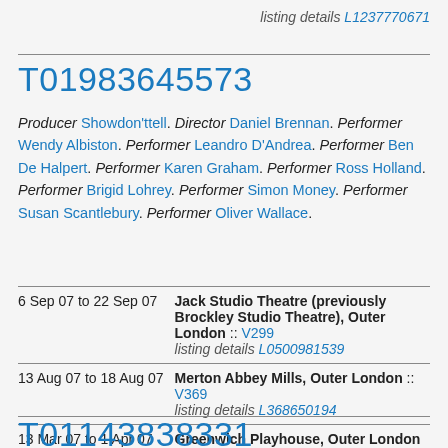listing details L1237770671
T01983645573
Producer Showdon'ttell. Director Daniel Brennan. Performer Wendy Albiston. Performer Leandro D'Andrea. Performer Ben De Halpert. Performer Karen Graham. Performer Ross Holland. Performer Brigid Lohrey. Performer Simon Money. Performer Susan Scantlebury. Performer Oliver Wallace.
| Date | Venue |
| --- | --- |
| 6 Sep 07 to 22 Sep 07 | Jack Studio Theatre (previously Brockley Studio Theatre), Outer London :: V299
listing details L0500981539 |
| 13 Aug 07 to 18 Aug 07 | Merton Abbey Mills, Outer London :: V369
listing details L368650194 |
| 13 Mar 07 to 1 Apr 07 | Greenwich Playhouse, Outer London :: V1286
listing details L1119719586 |
T011...